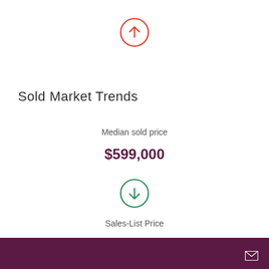[Figure (infographic): Red circle with upward arrow icon]
Sold Market Trends
Median sold price
$599,000
[Figure (infographic): Green circle with downward arrow icon]
Sales-List Price
99.2%
[Figure (infographic): Green circle with downward arrow icon (partially visible)]